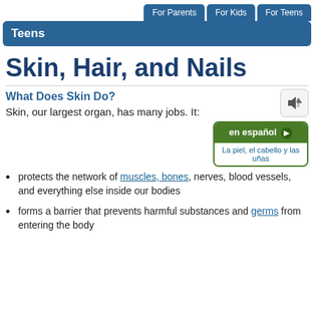For Parents | For Kids | For Teens
Teens
Skin, Hair, and Nails
What Does Skin Do?
Skin, our largest organ, has many jobs. It:
protects the network of muscles, bones, nerves, blood vessels, and everything else inside our bodies
forms a barrier that prevents harmful substances and germs from entering the body